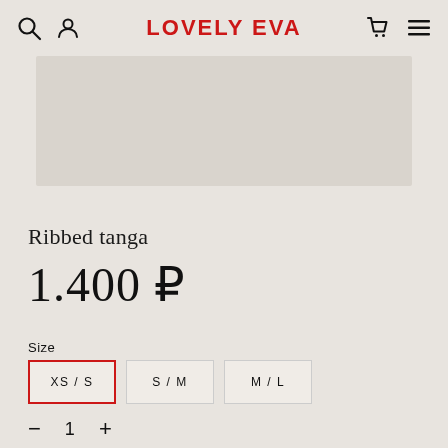LOVELY EVA
[Figure (photo): Product image area — light beige/cream rectangle placeholder for Ribbed tanga product photo]
Ribbed tanga
1.400 ₽
Size
XS / S  S / M  M / L
− 1 +